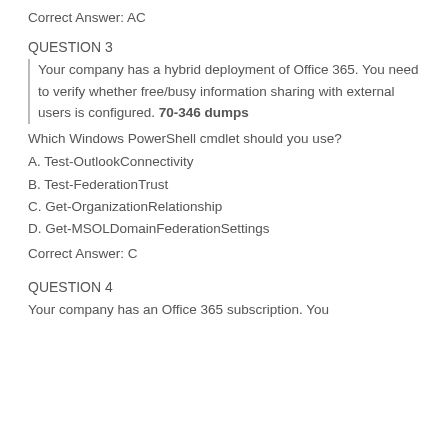Correct Answer: AC
QUESTION 3
Your company has a hybrid deployment of Office 365. You need to verify whether free/busy information sharing with external users is configured. 70-346 dumps
Which Windows PowerShell cmdlet should you use?
A. Test-OutlookConnectivity
B. Test-FederationTrust
C. Get-OrganizationRelationship
D. Get-MSOLDomainFederationSettings
Correct Answer: C
QUESTION 4
Your company has an Office 365 subscription. You